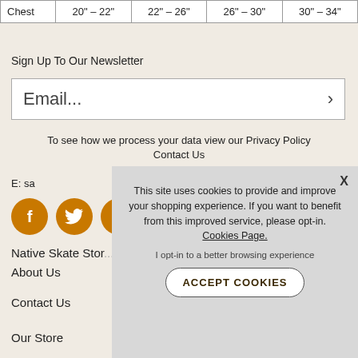|  |  |  |  |  |
| --- | --- | --- | --- | --- |
| Chest | 20" – 22" | 22" – 26" | 26" – 30" | 30" – 34" |
Sign Up To Our Newsletter
Email...
To see how we process your data view our Privacy Policy
Contact Us
E: sa...
[Figure (illustration): Three orange circular social media icons: Facebook (f), Twitter (bird), and a third partially visible]
Native Skate Stor...
About Us
Contact Us
Our Store
This site uses cookies to provide and improve your shopping experience. If you want to benefit from this improved service, please opt-in. Cookies Page.
I opt-in to a better browsing experience
ACCEPT COOKIES